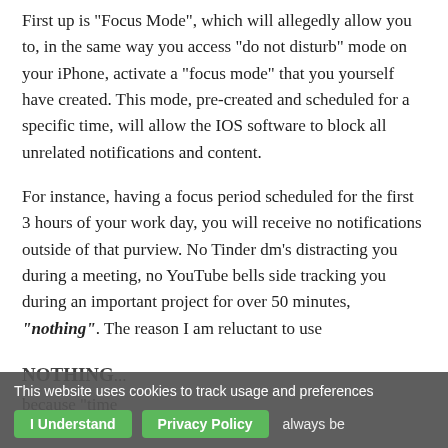First up is "Focus Mode", which will allegedly allow you to, in the same way you access "do not disturb" mode on your iPhone, activate a "focus mode" that you yourself have created. This mode, pre-created and scheduled for a specific time, will allow the IOS software to block all unrelated notifications and content.
For instance, having a focus period scheduled for the first 3 hours of your work day, you will receive no notifications outside of that purview. No Tinder dm's distracting you during a meeting, no YouTube bells side tracking you during an important project for over 50 minutes, "nothing". The reason I am reluctant to use NOTHING... because "time" will always be
This website uses cookies to track usage and preferences
I Understand
Privacy Policy